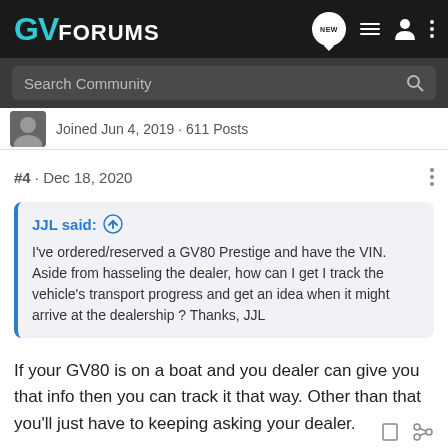GV FORUMS
Search Community
Joined Jun 4, 2019 · 611 Posts
#4 · Dec 18, 2020
JJL said: ↑
I've ordered/reserved a GV80 Prestige and have the VIN. Aside from hasseling the dealer, how can I get I track the vehicle's transport progress and get an idea when it might arrive at the dealership ? Thanks, JJL
If your GV80 is on a boat and you dealer can give you that info then you can track it that way. Other than that you'll just have to keeping asking your dealer.